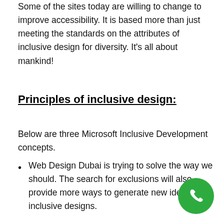Some of the sites today are willing to change to improve accessibility. It is based more than just meeting the standards on the attributes of inclusive design for diversity. It's all about mankind!
Principles of inclusive design:
Below are three Microsoft Inclusive Development concepts.
Web Design Dubai is trying to solve the way we should. The search for exclusions will also provide more ways to generate new ideas for inclusive designs.
[Figure (other): Green circular phone/call button icon in the bottom right corner]